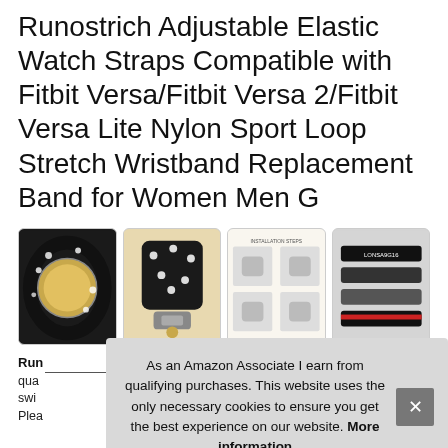Runostrich Adjustable Elastic Watch Straps Compatible with Fitbit Versa/Fitbit Versa 2/Fitbit Versa Lite Nylon Sport Loop Stretch Wristband Replacement Band for Women Men G
[Figure (photo): Four product thumbnail images showing Fitbit watch straps: 1) Black strap with white daisy pattern shown on watch, 2) Black daisy strap close-up with accessories, 3) Installation steps instructional graphic, 4) Multiple strap variants laid flat on gray surface]
Run
qua
swi
Plea
As an Amazon Associate I earn from qualifying purchases. This website uses the only necessary cookies to ensure you get the best experience on our website. More information